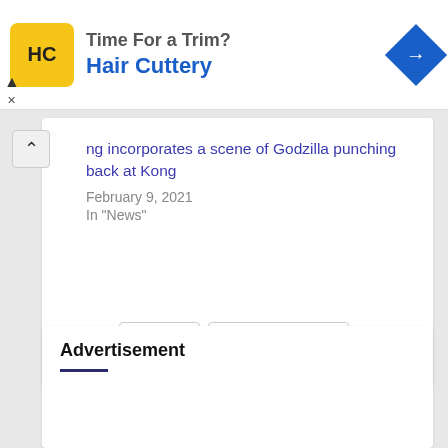[Figure (other): Hair Cuttery advertisement banner with logo, company name in blue, and navigation icon]
ng incorporates a scene of Godzilla punching back at Kong
February 9, 2021
In "News"
Tags: Godzilla  Godzilla Vs. Kong  Kong  WB
Advertisement